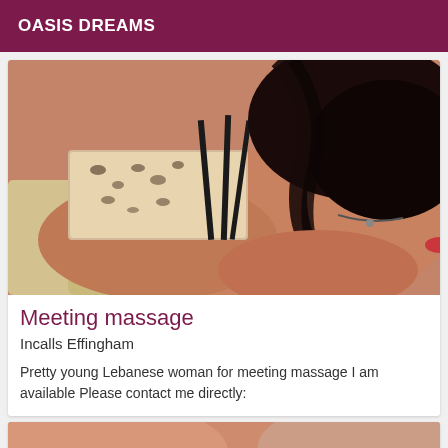OASIS DREAMS
[Figure (photo): Photo of a young woman lying down wearing a leopard print top with black straps, dark hair, on a light colored surface]
Meeting massage
Incalls Effingham
Pretty young Lebanese woman for meeting massage I am available Please contact me directly:
[Figure (photo): Partial photo visible at bottom of page, skin tones visible]